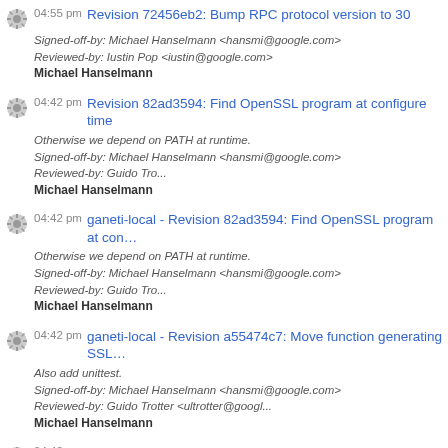04:55 pm Revision 72456eb2: Bump RPC protocol version to 30
Signed-off-by: Michael Hanselmann <hansmi@google.com>
Reviewed-by: Iustin Pop <iustin@google.com>
Michael Hanselmann
04:42 pm Revision 82ad3594: Find OpenSSL program at configure time
Otherwise we depend on PATH at runtime.
Signed-off-by: Michael Hanselmann <hansmi@google.com>
Reviewed-by: Guido Tro...
Michael Hanselmann
04:42 pm ganeti-local - Revision 82ad3594: Find OpenSSL program at con...
Otherwise we depend on PATH at runtime.
Signed-off-by: Michael Hanselmann <hansmi@google.com>
Reviewed-by: Guido Tro...
Michael Hanselmann
04:42 pm ganeti-local - Revision a55474c7: Move function generating SSL...
Also add unittest.
Signed-off-by: Michael Hanselmann <hansmi@google.com>
Reviewed-by: Guido Trotter <ultrotter@googl...
Michael Hanselmann
04:42 pm Revision a55474c7: Move function generating SSL certs into util...
Also add unittest.
Signed-off-by: Michael Hanselmann <hansmi@google.com>
Reviewed-by: Guido Trotter <ultrotter@googl...
Michael Hanselmann
03:20 pm ganeti-local - Revision 5b2069a9: Initial design for inter-cluster i...
Signed-off-by: Michael Hanselmann <hansmi@google.com>
Reviewed-by: Iustin Pop <iustin@google.com>
Michael Hanselmann